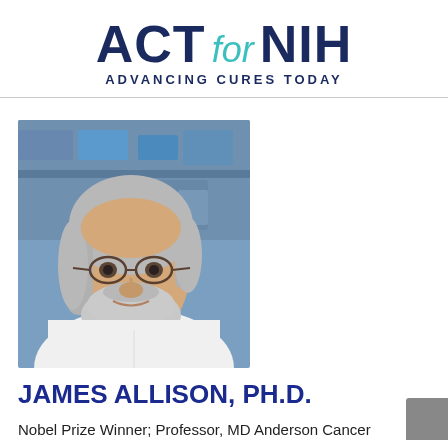ACT for NIH ADVANCING CURES TODAY
[Figure (photo): Professional headshot of James Allison, Ph.D., an older man with long gray hair, beard, and round glasses, wearing a white lab coat over a dark shirt, photographed in a laboratory setting with blue equipment in the background.]
JAMES ALLISON, PH.D.
Nobel Prize Winner; Professor, MD Anderson Cancer